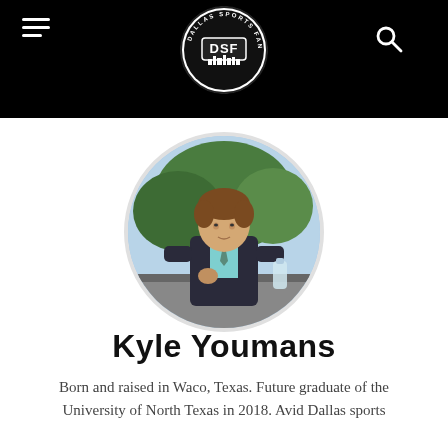DSF Dallas Sports Fanatic logo header with hamburger menu and search icon
[Figure (photo): Circular profile photo of Kyle Youmans, a young man in a dark suit with a light blue shirt and tie, seated outdoors with trees in the background]
Kyle Youmans
Born and raised in Waco, Texas. Future graduate of the University of North Texas in 2018. Avid Dallas sports...